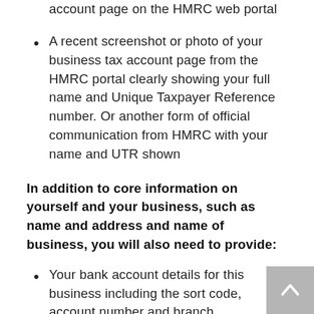account page on the HMRC web portal
A recent screenshot or photo of your business tax account page from the HMRC portal clearly showing your full name and Unique Taxpayer Reference number. Or another form of official communication from HMRC with your name and UTR shown
In addition to core information on yourself and your business, such as name and address and name of business, you will also need to provide:
Your bank account details for this business including the sort code, account number and branch